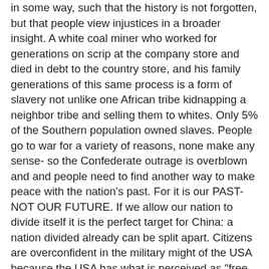in some way, such that the history is not forgotten, but that people view injustices in a broader insight. A white coal miner who worked for generations on scrip at the company store and died in debt to the country store, and his family generations of this same process is a form of slavery not unlike one African tribe kidnapping a neighbor tribe and selling them to whites. Only 5% of the Southern population owned slaves. People go to war for a variety of reasons, none make any sense- so the Confederate outrage is overblown and and people need to find another way to make peace with the nation's past. For it is our PAST- NOT OUR FUTURE. If we allow our nation to divide itself it is the perfect target for China: a nation divided already can be split apart. Citizens are overconfident in the military might of the USA because the USA has what is perceived as "free press". We perceive the Chinese as backwards because of our media's accounts and the few snippets of news we see from